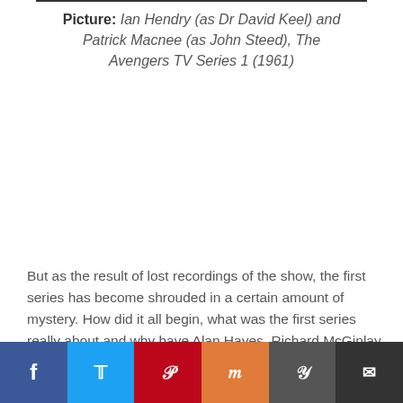Picture: Ian Hendry (as Dr David Keel) and Patrick Macnee (as John Steed), The Avengers TV Series 1 (1961)
But as the result of lost recordings of the show, the first series has become shrouded in a certain amount of mystery. How did it all begin, what was the first series really about and why have Alan Hayes, Richard McGinlay and Alys Hayes been hot on the trail, uncovering the lost stories behind the 'birth' of The Avengers?
In the following interview, Alan and Richard explain...